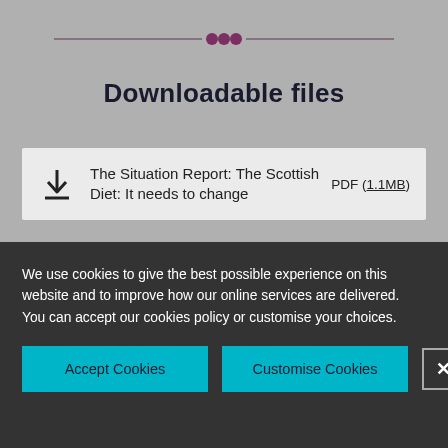[Figure (illustration): Decorative horizontal divider with three purple dots in the center and thin dark lines extending left and right]
Downloadable files
The Situation Report: The Scottish Diet: It needs to change   PDF (1.1MB)
We use cookies to give the best possible experience on this website and to improve how our online services are delivered. You can accept our cookies policy or customise your choices.
Accept Cookies
Customise Cookies